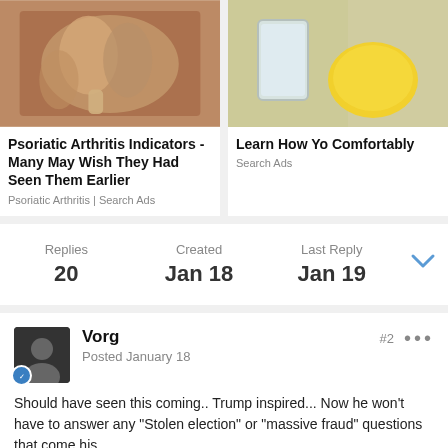[Figure (screenshot): Advertisement banner with two cards. Left card shows an image of arthritic hands. Right card shows an image of a glass and lemon.]
Psoriatic Arthritis Indicators - Many May Wish They Had Seen Them Earlier
Psoriatic Arthritis | Search Ads
Learn How Yo Comfortably
Search Ads
Replies
20
Created
Jan 18
Last Reply
Jan 19
Vorg
Posted January 18
#2
Should have seen this coming.. Trump inspired... Now he won't have to answer any "Stolen election" or "massive fraud" questions that come his